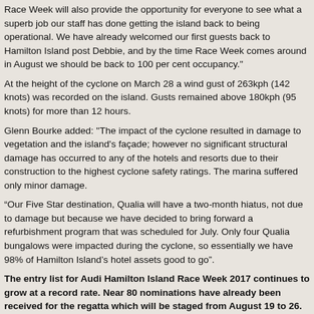Race Week will also provide the opportunity for everyone to see what a superb job our staff has done getting the island back to being operational. We have already welcomed our first guests back to Hamilton Island post Debbie, and by the time Race Week comes around in August we should be back to 100 per cent occupancy."
At the height of the cyclone on March 28 a wind gust of 263kph (142 knots) was recorded on the island. Gusts remained above 180kph (95 knots) for more than 12 hours.
Glenn Bourke added: "The impact of the cyclone resulted in damage to vegetation and the island's façade; however no significant structural damage has occurred to any of the hotels and resorts due to their construction to the highest cyclone safety ratings. The marina suffered only minor damage.
“Our Five Star destination, Qualia will have a two-month hiatus, not due to damage but because we have decided to bring forward a refurbishment program that was scheduled for July. Only four Qualia bungalows were impacted during the cyclone, so essentially we have 98% of Hamilton Island’s hotel assets good to go”.
The entry list for Audi Hamilton Island Race Week 2017 continues to grow at a record rate. Near 80 nominations have already been received for the regatta which will be staged from August 19 to 26.
German luxury carmaker, Audi, is returning for the 12th year as principal sponsor, demonstrating the brand’s continued commitment to high quality, competitive offshore racing and a benchmark onshore social calendar that is as inclusive as it is exclusive.